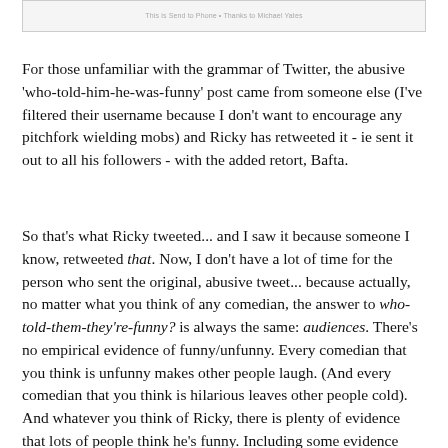[Figure (screenshot): Partial screenshot of a Twitter/social media post with filtered username and text content]
For those unfamiliar with the grammar of Twitter, the abusive 'who-told-him-he-was-funny' post came from someone else (I've filtered their username because I don't want to encourage any pitchfork wielding mobs) and Ricky has retweeted it - ie sent it out to all his followers - with the added retort, Bafta.
So that's what Ricky tweeted... and I saw it because someone I know, retweeted that. Now, I don't have a lot of time for the person who sent the original, abusive tweet... because actually, no matter what you think of any comedian, the answer to who-told-them-they're-funny? is always the same: audiences. There's no empirical evidence of funny/unfunny. Every comedian that you think is unfunny makes other people laugh. (And every comedian that you think is hilarious leaves other people cold). And whatever you think of Ricky, there is plenty of evidence that lots of people think he's funny. Including some evidence from Bafta. Fine.